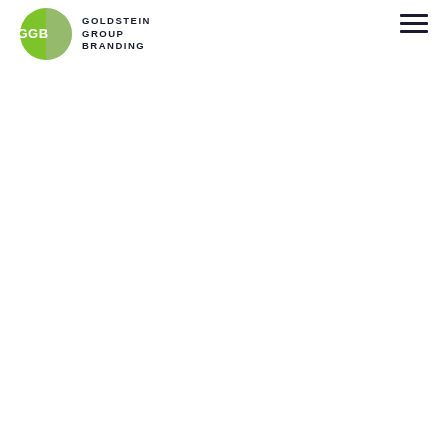[Figure (logo): Goldstein Group Branding logo: a green circle split vertically with white 'GGB' text on the left half and a dark right half, next to the text 'GOLDSTEIN GROUP BRANDING' in dark bold uppercase letters]
[Figure (other): Hamburger menu icon: three horizontal dark lines stacked vertically, positioned in the top right corner]